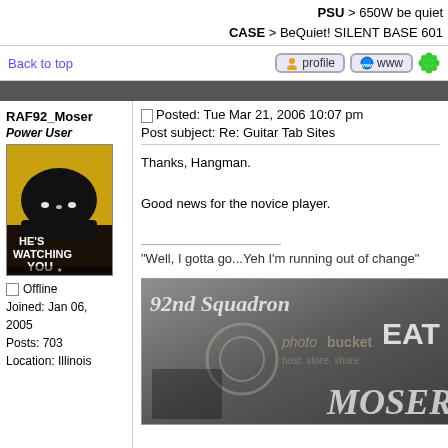PSU > 650W be quiet
CASE > BeQuiet! SILENT BASE 601
Back to top
[Figure (screenshot): Profile, www, and flower icon buttons]
RAF92_Moser
Power User
[Figure (photo): WWII propaganda poster: He's Watching You, dark silhouette with helmet on yellow background]
Offline
Joined: Jan 06, 2005
Posts: 703
Location: Illinois
Posted: Tue Mar 21, 2006 10:07 pm
Post subject: Re: Guitar Tab Sites
Thanks, Hangman.

Good news for the novice player.

"Well, I gotta go...Yeh I'm running out of change"
[Figure (photo): 92nd Squadron signature image - EAT AT MOSER'S with photobucket watermark, grayscale vintage photo]
Back to top
Hangman
Posted: Wed Mar 22, 2006 12:26 am